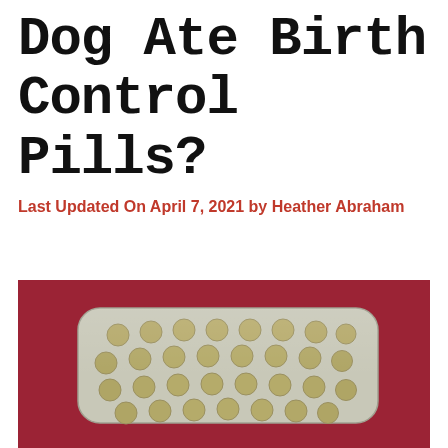Dog Ate Birth Control Pills?
Last Updated On April 7, 2021 by Heather Abraham
[Figure (photo): A blister pack of birth control pills (round, beige/olive colored pills in silver foil packaging) placed on a red fabric background]